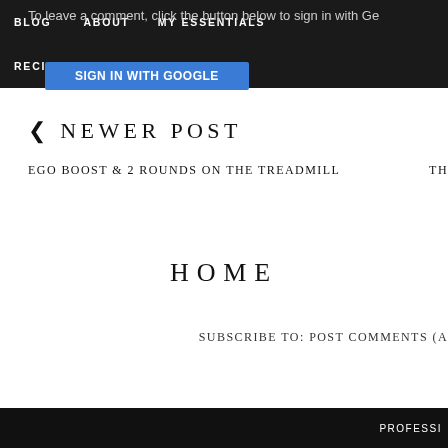BLOG   ABOUT   MY ESSENTIALS   RECIPES   RACES
To leave a comment, click the button below to sign in with Ge
SIGN IN WITH GOOGLE
< NEWER POST
EGO BOOST & 2 ROUNDS ON THE TREADMILL
TH
HOME
SUBSCRIBE TO: POST COMMENTS (A
PROFESSI